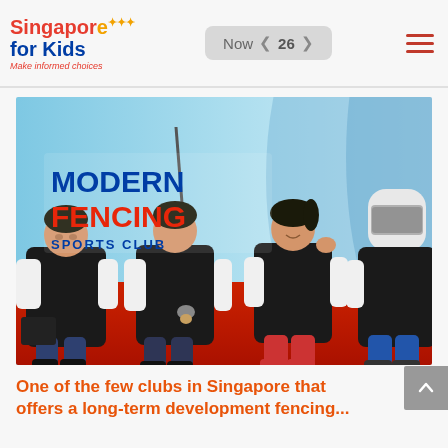Singapore for Kids — Make informed choices | Now 26 | Navigation menu
[Figure (photo): Four children in fencing protective gear (black vests, white shirts) sitting on a red mat against a light blue background. Text overlay reads 'MODERN FENCING SPORTS CLUB'. One child wears a full fencing helmet.]
One of the few clubs in Singapore that offers a long-term development fencing...